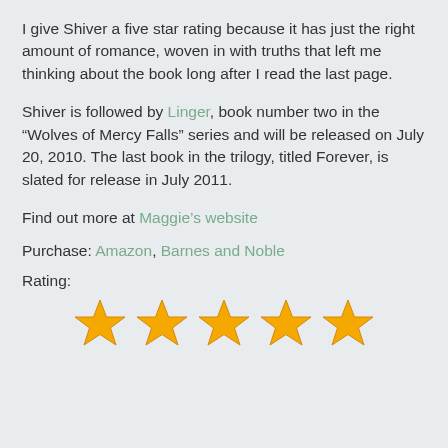I give Shiver a five star rating because it has just the right amount of romance, woven in with truths that left me thinking about the book long after I read the last page.
Shiver is followed by Linger, book number two in the “Wolves of Mercy Falls” series and will be released on July 20, 2010. The last book in the trilogy, titled Forever, is slated for release in July 2011.
Find out more at Maggie’s website
Purchase: Amazon, Barnes and Noble
Rating:
[Figure (other): Five gold star rating icons displayed in a row]